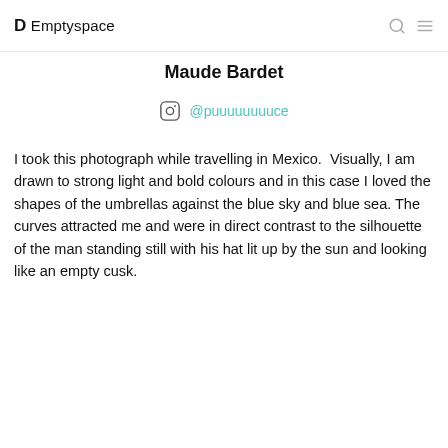D Emptyspace
Maude Bardet
@puuuuuuuuce
I took this photograph while travelling in Mexico. Visually, I am drawn to strong light and bold colours and in this case I loved the shapes of the umbrellas against the blue sky and blue sea. The curves attracted me and were in direct contrast to the silhouette of the man standing still with his hat lit up by the sun and looking like an empty cusk.